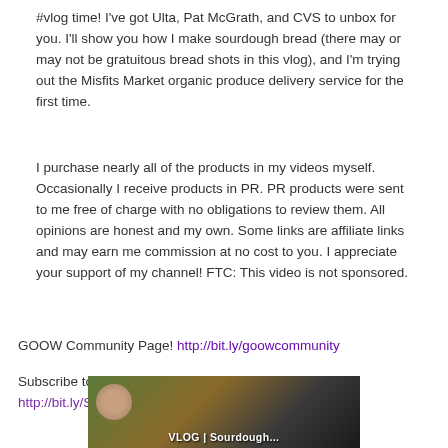#vlog time! I've got Ulta, Pat McGrath, and CVS to unbox for you. I'll show you how I make sourdough bread (there may or may not be gratuitous bread shots in this vlog), and I'm trying out the Misfits Market organic produce delivery service for the first time.
I purchase nearly all of the products in my videos myself. Occasionally I receive products in PR. PR products were sent to me free of charge with no obligations to review them. All opinions are honest and my own. Some links are affiliate links and may earn me commission at no cost to you. I appreciate your support of my channel! FTC: This video is not sponsored.
GOOW Community Page! http://bit.ly/goowcommunity
Subscribe to GOOW for new videos every week! http://bit.ly/SubscribeGOOW
[Figure (photo): Thumbnail image of a video, partially visible at the bottom of the page. Shows a woman and the text 'VLOG | Sourdough...' overlay.]